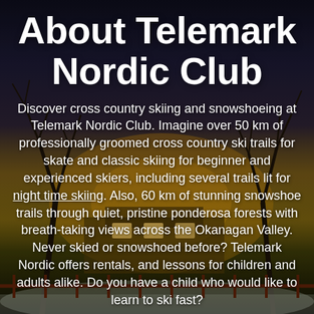[Figure (photo): Winter dusk background photo showing bare trees silhouetted against a twilight sky with warm orange glow from a building visible through the branches, snow on the ground, and a fence in the foreground.]
About Telemark Nordic Club
Discover cross country skiing and snowshoeing at Telemark Nordic Club. Imagine over 50 km of professionally groomed cross country ski trails for skate and classic skiing for beginner and experienced skiers, including several trails lit for night time skiing. Also, 60 km of stunning snowshoe trails through quiet, pristine ponderosa forests with breath-taking views across the Okanagan Valley. Never skied or snowshoed before? Telemark Nordic offers rentals, and lessons for children and adults alike. Do you have a child who would like to learn to ski fast?